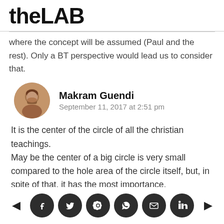theLAB
where the concept will be assumed (Paul and the rest). Only a BT perspective would lead us to consider that.
Makram Guendi
September 11, 2017 at 2:51 pm
It is the center of the circle of all the christian teachings.
May be the center of a big circle is very small compared to the hole area of the circle itself, but, in spite of that, it has the most importance.
these things are not able to be measured by
◄ [social icons: facebook, twitter, reddit, pinterest, email, linkedin] ►